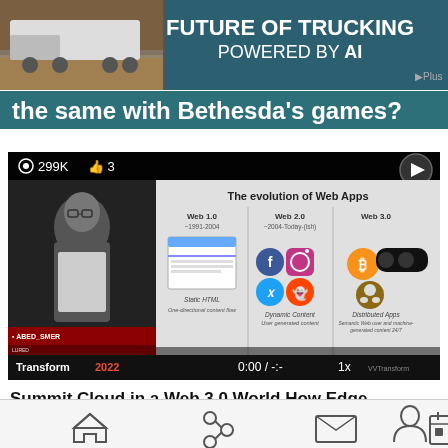[Figure (screenshot): Advertisement banner: FUTURE OF TRUCKING POWERED BY AI with truck image and G Plus badge]
the same with Bethesda's games?
[Figure (screenshot): Video player showing 'The evolution of Web Apps' slide with Web 1.0, Web 2.0, Web 3.0 sections. Stats: 299K views, 3 likes. Transform 2022. Time: 0:00 / -:- 1x]
Summit Cloud in a Web 3.0 World How Edge computing drives platforms that converge the needs of IT, Ops, and Developers_Landscape
Home Share Mail Calendar Profile (navigation icons)